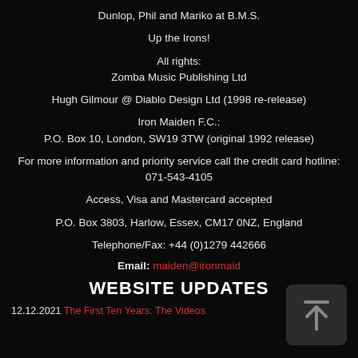Dunlop, Phil and Mariko at B.M.S.
Up the Irons!
All rights:
Zomba Music Publishing Ltd
Hugh Gilmour @ Diablo Design Ltd (1998 re-release)
Iron Maiden F.C.:
P.O. Box 10, London, SW19 3TW (original 1992 release)
For more information and priority service call the credit card hotline:
071-543-4105
Access, Visa and Mastercard accepted
P.O. Box 3803, Harlow, Essex, CM17 0NZ, England
Telephone/Fax: +44 (0)1279 442666
Email: maiden@ironmaid
WEBSITE UPDATES
12.12.2021 The First Ten Years: The Videos
[Figure (other): Upload/share icon button - dark grey rounded rectangle with upward arrow and horizontal bar at top]